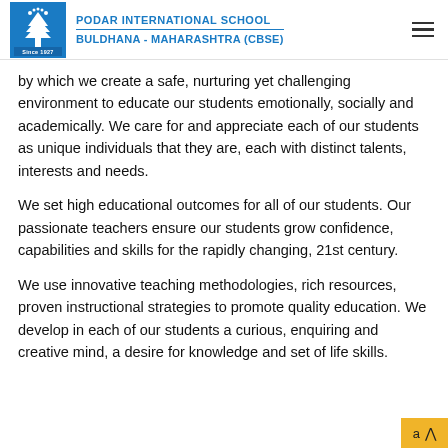PODAR INTERNATIONAL SCHOOL BULDHANA - MAHARASHTRA (CBSE)
by which we create a safe, nurturing yet challenging environment to educate our students emotionally, socially and academically. We care for and appreciate each of our students as unique individuals that they are, each with distinct talents, interests and needs.
We set high educational outcomes for all of our students. Our passionate teachers ensure our students grow confidence, capabilities and skills for the rapidly changing, 21st century.
We use innovative teaching methodologies, rich resources, proven instructional strategies to promote quality education. We develop in each of our students a curious, enquiring and creative mind, a desire for knowledge and set of life skills.